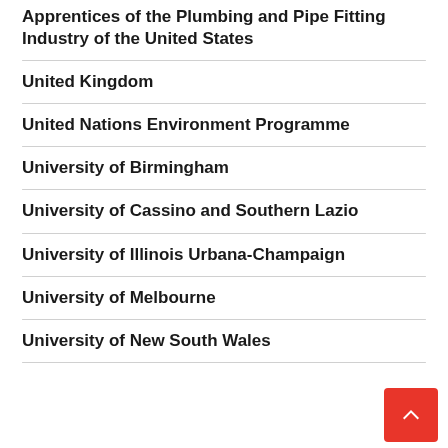Apprentices of the Plumbing and Pipe Fitting Industry of the United States
United Kingdom
United Nations Environment Programme
University of Birmingham
University of Cassino and Southern Lazio
University of Illinois Urbana-Champaign
University of Melbourne
University of New South Wales